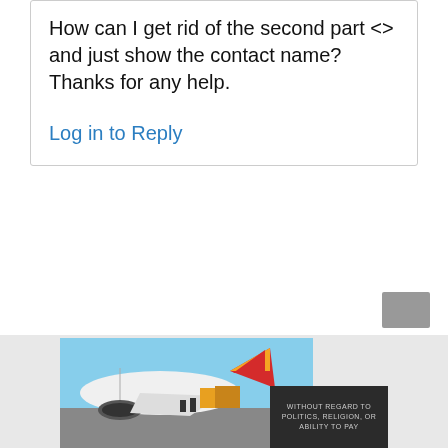How can I get rid of the second part <> and just show the contact name?
Thanks for any help.
Log in to Reply
[Figure (photo): Advertisement banner showing an airplane being loaded with cargo, with an overlay text reading 'WITHOUT REGARD TO POLITICS, RELIGION, OR ABILITY TO PAY']